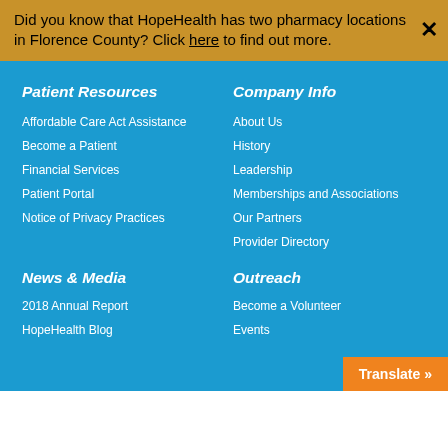Did you know that HopeHealth has two pharmacy locations in Florence County? Click here to find out more.
Patient Resources
Affordable Care Act Assistance
Become a Patient
Financial Services
Patient Portal
Notice of Privacy Practices
Company Info
About Us
History
Leadership
Memberships and Associations
Our Partners
Provider Directory
News & Media
2018 Annual Report
HopeHealth Blog
Outreach
Become a Volunteer
Events